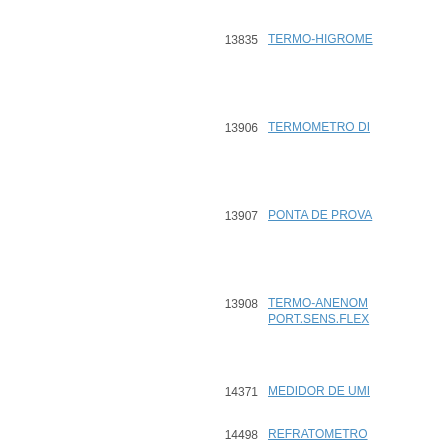13835  TERMO-HIGROME...
13906  TERMOMETRO DI...
13907  PONTA DE PROVA...
13908  TERMO-ANENOM... PORT.SENS.FLEX...
14371  MEDIDOR DE UMI...
14498  REFRATOMETRO...